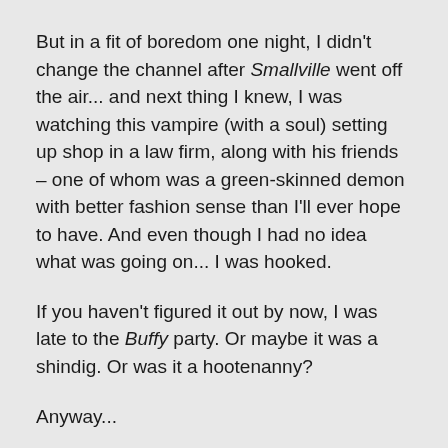But in a fit of boredom one night, I didn't change the channel after Smallville went off the air... and next thing I knew, I was watching this vampire (with a soul) setting up shop in a law firm, along with his friends – one of whom was a green-skinned demon with better fashion sense than I'll ever hope to have. And even though I had no idea what was going on... I was hooked.
If you haven't figured it out by now, I was late to the Buffy party. Or maybe it was a shindig. Or was it a hootenanny?
Anyway...
You can thank/blame the movie for that. I saw the 1992 film when I was a kid, and I hated it. So when I heard the...